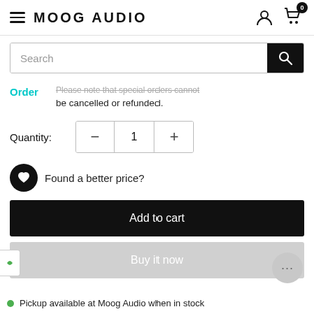MOOG AUDIO
[Figure (screenshot): Search bar with magnifying glass icon button]
Order  ...special orders cannot be cancelled or refunded.
Quantity: 1
Found a better price?
Add to cart
Buy it now
Pickup available at Moog Audio when in stock